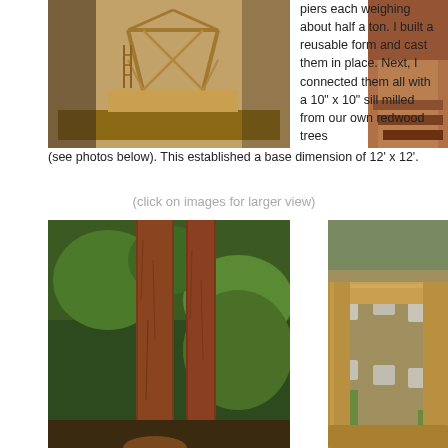[Figure (photo): Wooden scale model of a timber frame structure on a table]
[Figure (photo): Partial view of wooden steps or deck on the right edge]
piers each weighing about half a ton. I built a reusable form and cast them in place. Next, I connected them all with a 10" x 10" sill milled from our own redwood trees (see photos below). This established a base dimension of 12' x 12'.
(click on images for larger view)
[Figure (photo): Tall redwood trees with reddish-brown bark in a forested setting]
[Figure (photo): Large timber sill beams laid out on concrete piers in a gravel area, forming a square foundation]